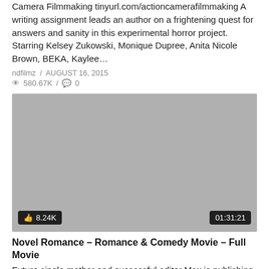Camera Filmmaking tinyurl.com/actioncamerafilmmaking A writing assignment leads an author on a frightening quest for answers and sanity in this experimental horror project. Starring Kelsey Zukowski, Monique Dupree, Anita Nicole Brown, BEKA, Kaylee…
ndfilmz / AUGUST 16, 2015
580.67K / 0
[Figure (screenshot): Gray video thumbnail with like count badge showing thumbs up icon and 8.24K on bottom left, and duration badge showing 01:31:21 on bottom right]
Novel Romance – Romance & Comedy Movie – Full Movie
Future single mother and successful editor Max is publishing struggling author Jake. Soon they come to realize what they have…